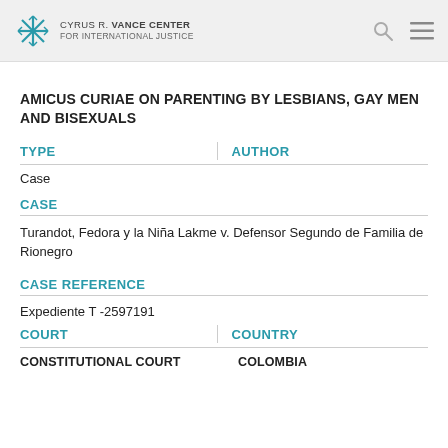CYRUS R. VANCE CENTER FOR INTERNATIONAL JUSTICE
AMICUS CURIAE ON PARENTING BY LESBIANS, GAY MEN AND BISEXUALS
| TYPE | AUTHOR |
| --- | --- |
| Case |  |
CASE
Turandot, Fedora y la Niña Lakme v. Defensor Segundo de Familia de Rionegro
CASE REFERENCE
Expediente T -2597191
| COURT | COUNTRY |
| --- | --- |
| CONSTITUTIONAL COURT | COLOMBIA |